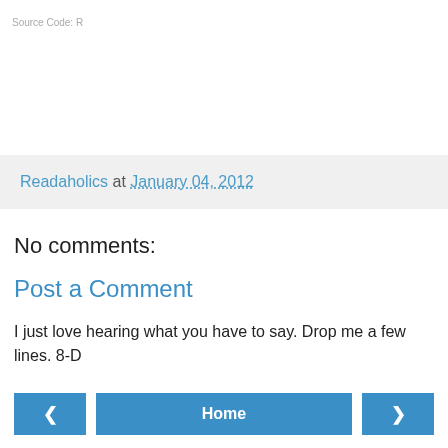Source Code: R
Readaholics at January 04, 2012
No comments:
Post a Comment
I just love hearing what you have to say. Drop me a few lines. 8-D
‹  Home  ›
View web version